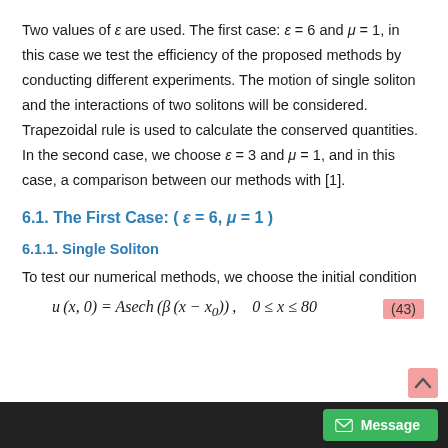Two values of ε are used. The first case: ε = 6 and μ = 1, in this case we test the efficiency of the proposed methods by conducting different experiments. The motion of single soliton and the interactions of two solitons will be considered. Trapezoidal rule is used to calculate the conserved quantities. In the second case, we choose ε = 3 and μ = 1, and in this case, a comparison between our methods with [1].
6.1. The First Case: ( ε = 6, μ = 1 )
6.1.1. Single Soliton
To test our numerical methods, we choose the initial condition